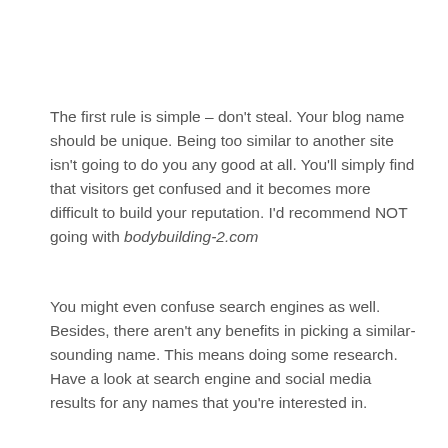The first rule is simple – don't steal. Your blog name should be unique. Being too similar to another site isn't going to do you any good at all. You'll simply find that visitors get confused and it becomes more difficult to build your reputation. I'd recommend NOT going with bodybuilding-2.com
You might even confuse search engines as well. Besides, there aren't any benefits in picking a similar-sounding name. This means doing some research. Have a look at search engine and social media results for any names that you're interested in.